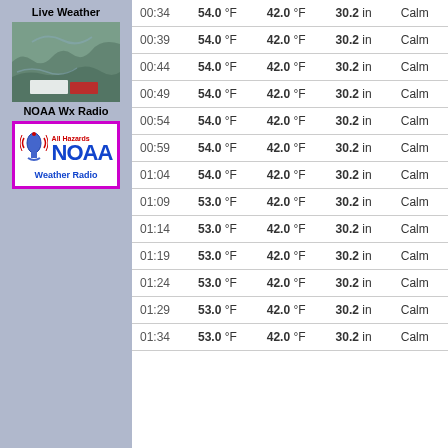Live Weather
[Figure (map): Live weather map showing terrain/satellite view]
NOAA Wx Radio
[Figure (logo): NOAA All Hazards Weather Radio logo with microphone icon]
| Time | Temp | Dew Point | Pressure | Wind |
| --- | --- | --- | --- | --- |
| 00:34 | 54.0 °F | 42.0 °F | 30.2 in | Calm |
| 00:39 | 54.0 °F | 42.0 °F | 30.2 in | Calm |
| 00:44 | 54.0 °F | 42.0 °F | 30.2 in | Calm |
| 00:49 | 54.0 °F | 42.0 °F | 30.2 in | Calm |
| 00:54 | 54.0 °F | 42.0 °F | 30.2 in | Calm |
| 00:59 | 54.0 °F | 42.0 °F | 30.2 in | Calm |
| 01:04 | 54.0 °F | 42.0 °F | 30.2 in | Calm |
| 01:09 | 53.0 °F | 42.0 °F | 30.2 in | Calm |
| 01:14 | 53.0 °F | 42.0 °F | 30.2 in | Calm |
| 01:19 | 53.0 °F | 42.0 °F | 30.2 in | Calm |
| 01:24 | 53.0 °F | 42.0 °F | 30.2 in | Calm |
| 01:29 | 53.0 °F | 42.0 °F | 30.2 in | Calm |
| 01:34 | 53.0 °F | 42.0 °F | 30.2 in | Calm |